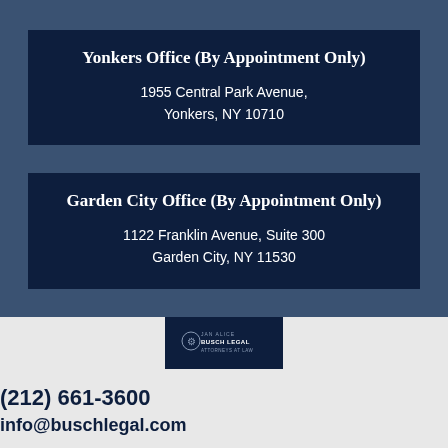Yonkers Office (By Appointment Only)
1955 Central Park Avenue,
Yonkers, NY 10710
Garden City Office (By Appointment Only)
1122 Franklin Avenue, Suite 300
Garden City, NY 11530
[Figure (logo): Busch Legal law firm logo on dark navy background]
(212) 661-3600
info@buschlegal.com